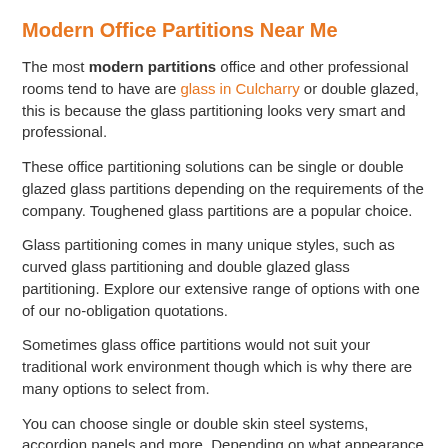Modern Office Partitions Near Me
The most modern partitions office and other professional rooms tend to have are glass in Culcharry or double glazed, this is because the glass partitioning looks very smart and professional.
These office partitioning solutions can be single or double glazed glass partitions depending on the requirements of the company. Toughened glass partitions are a popular choice.
Glass partitioning comes in many unique styles, such as curved glass partitioning and double glazed glass partitioning. Explore our extensive range of options with one of our no-obligation quotations.
Sometimes glass office partitions would not suit your traditional work environment though which is why there are many options to select from.
You can choose single or double skin steel systems, accordion panels and more. Depending on what appearance you are going for, we could help assist you in this process to create stylish